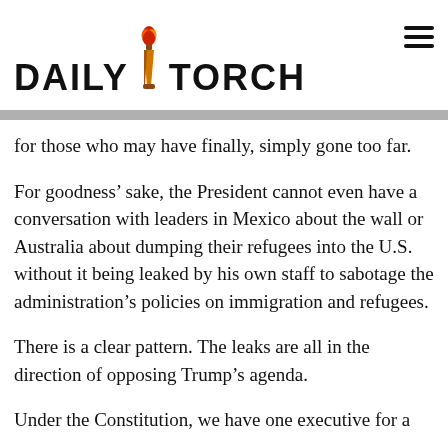DAILY TORCH
for those who may have finally, simply gone too far.
For goodness’ sake, the President cannot even have a conversation with leaders in Mexico about the wall or Australia about dumping their refugees into the U.S. without it being leaked by his own staff to sabotage the administration’s policies on immigration and refugees.
There is a clear pattern. The leaks are all in the direction of opposing Trump’s agenda.
Under the Constitution, we have one executive for a